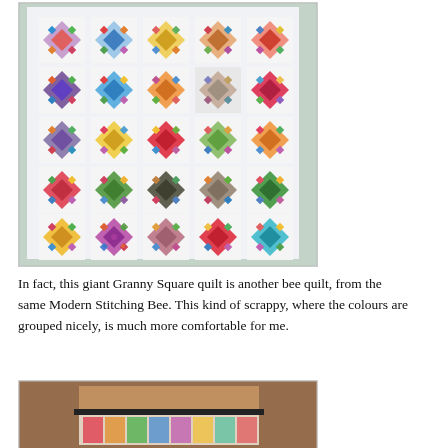[Figure (photo): A large Granny Square quilt with colorful patchwork blocks arranged in a 5x5 grid on a white background, photographed outdoors.]
In fact, this giant Granny Square quilt is another bee quilt, from the same Modern Stitching Bee. This kind of scrappy, where the colours are grouped nicely, is much more comfortable for me.
[Figure (photo): A colorful quilt displayed on a rack in front of a brick wall and wooden surface.]